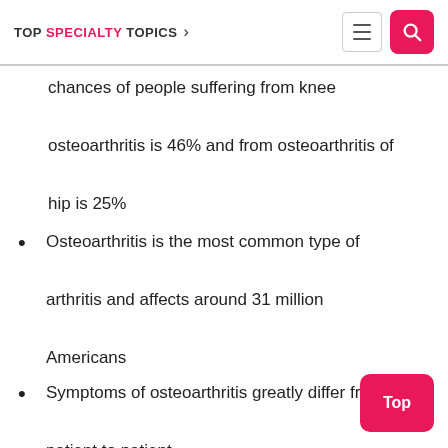TOP SPECIALTY TOPICS
chances of people suffering from knee osteoarthritis is 46% and from osteoarthritis of hip is 25%
Osteoarthritis is the most common type of arthritis and affects around 31 million Americans
Symptoms of osteoarthritis greatly differ from patient to patient
The most important treatment of osteo... is regular exercise. It helps in reducing pain and